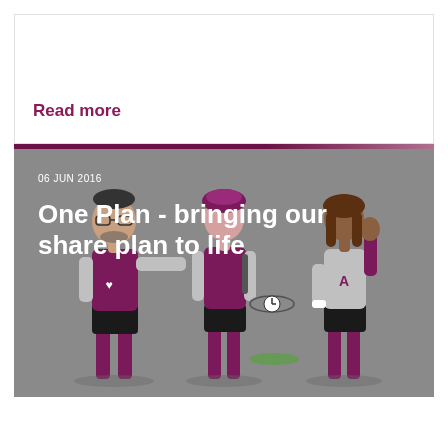Read more
[Figure (illustration): Three animated superhero characters in purple and grey outfits — a male figure on the left pointing, a female figure in the center, and a female figure on the right waving — set against a grey background.]
06 JUN 2016
One Plan - bringing our share plan to life